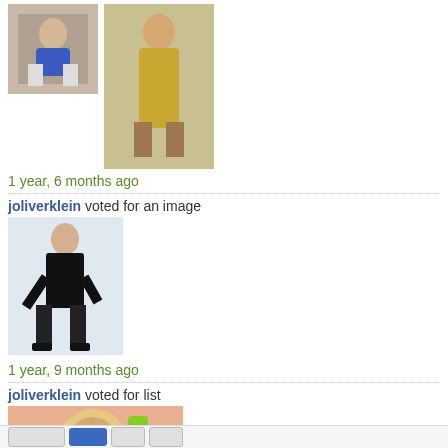[Figure (photo): Two thumbnail photos of women, one in sportswear and one in a yellow outfit outdoors]
1 year, 6 months ago
joliverklein voted for an image
[Figure (photo): Photo of a woman in black outfit and heels posing against white background]
1 year, 9 months ago
joliverklein voted for list
[Figure (photo): Photo of a blonde woman in red top eating a green popsicle]
Food and Drinks (75 beauty items)
2 years ago